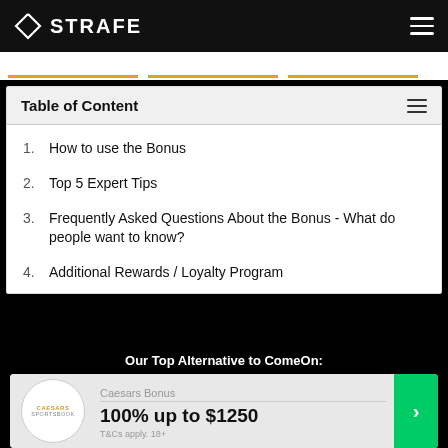STRAFE
Table of Content
1. How to use the Bonus
2. Top 5 Expert Tips
3. Frequently Asked Questions About the Bonus - What do people want to know?
4. Additional Rewards / Loyalty Program
Our Top Alternative to ComeOn:
Caesars Bonus
100% up to $1250
T&Cs apply. 18+